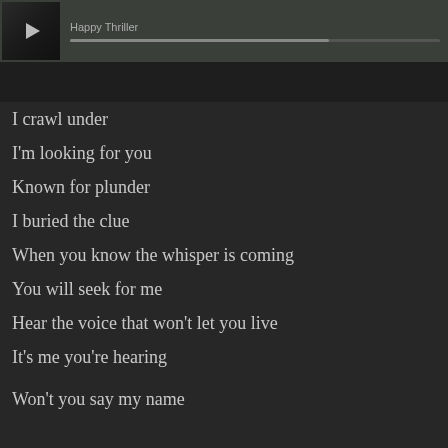[Figure (screenshot): Music player bar with album art thumbnail showing a dark figure, play button, track title partially visible, and a progress bar]
I crawl under
I'm looking for you
Known for plunder
I buried the clue
When you know the whisper is coming
You will seek for me
Hear the voice that won't let you live
It's me you're hearing
Won't you say my name